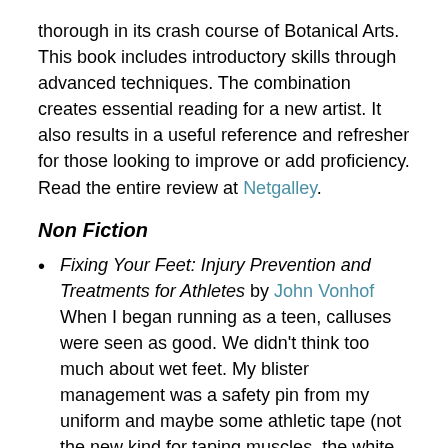thorough in its crash course of Botanical Arts. This book includes introductory skills through advanced techniques. The combination creates essential reading for a new artist. It also results in a useful reference and refresher for those looking to improve or add proficiency. Read the entire review at Netgalley.
Non Fiction
Fixing Your Feet: Injury Prevention and Treatments for Athletes by John Vonhof
When I began running as a teen, calluses were seen as good. We didn't think too much about wet feet. My blister management was a safety pin from my uniform and maybe some athletic tape (not the new kind for taping muscles, the white stuff for wrapping bandages). I found this to be an